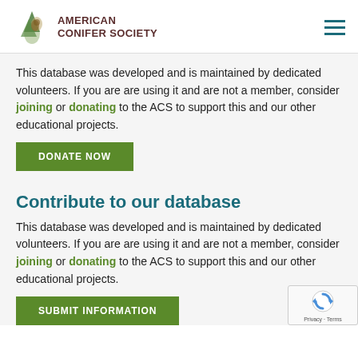AMERICAN CONIFER SOCIETY
This database was developed and is maintained by dedicated volunteers. If you are are using it and are not a member, consider joining or donating to the ACS to support this and our other educational projects.
DONATE NOW
Contribute to our database
This database was developed and is maintained by dedicated volunteers. If you are are using it and are not a member, consider joining or donating to the ACS to support this and our other educational projects.
SUBMIT INFORMATION